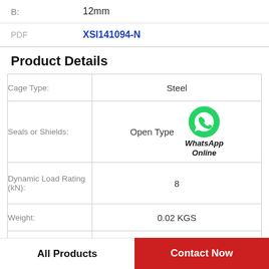B: 12mm
PDF XSI141094-N
Product Details
| Property | Value |
| --- | --- |
| Cage Type: | Steel |
| Seals or Shields: | Open Type |
| Dynamic Load Rating (kN): | 8 |
| Weight: | 0.02 KGS |
| Grease Limiting Speed (r/min): | 16000 |
All Products
Contact Now